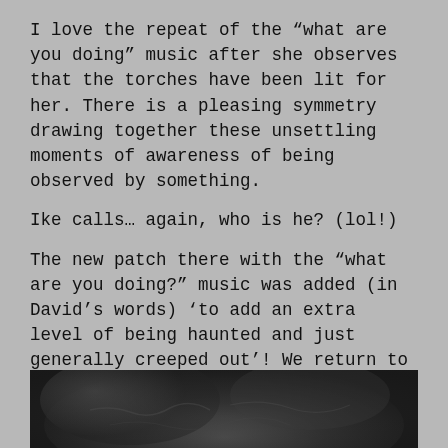I love the repeat of the “what are you doing” music after she observes that the torches have been lit for her. There is a pleasing symmetry drawing together these unsettling moments of awareness of being observed by something.
Ike calls… again, who is he? (lol!)
The new patch there with the “what are you doing?” music was added (in David’s words) ‘to add an extra level of being haunted and just generally creeped out’! We return to Kiri’s point of audition right at the end there, with the sense of the space around her. I do love how long the fire (torch) sound goes on, reminding us of another presence.
[Figure (photo): Black and white close-up photograph, partially visible at the bottom of the page, appearing to show a textured dark surface, possibly a face or organic material.]